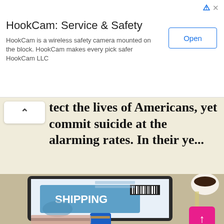[Figure (screenshot): Advertisement banner for HookCam: Service & Safety showing title, description, and Open button]
tect the lives of Americans, yet commit suicide at the alarming rates. In their ye...
[Figure (photo): Person using laptop showing a shipping tracking information screen with SHIPPING label and barcode, alongside a glass of wine and coffee cup]